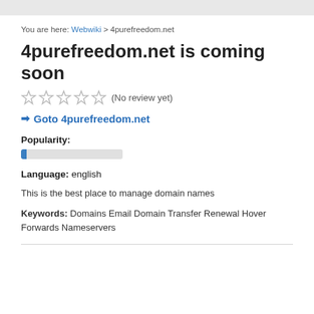You are here: Webwiki > 4purefreedom.net
4purefreedom.net is coming soon
(No review yet)
Goto 4purefreedom.net
Popularity:
[Figure (other): Popularity progress bar, nearly empty, small blue fill on left]
Language: english
This is the best place to manage domain names
Keywords: Domains Email Domain Transfer Renewal Hover Forwards Nameservers